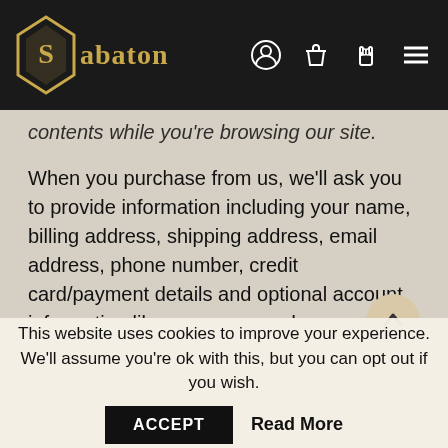Sabaton
contents while you're browsing our site.
When you purchase from us, we'll ask you to provide information including your name, billing address, shipping address, email address, phone number, credit card/payment details and optional account information like username and password. We'll use this information for purposes, such as, to:
Send you information about your account and order
Respond to your requests, including refunds and complaints
This website uses cookies to improve your experience. We'll assume you're ok with this, but you can opt out if you wish. ACCEPT Read More